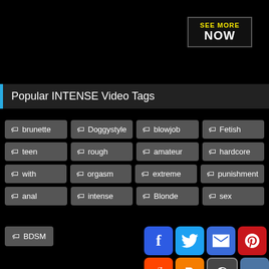[Figure (logo): SEE MORE NOW promotional box with yellow text 'SEE MORE' and white text 'NOW' on dark background]
Popular INTENSE Video Tags
brunette
Doggystyle
blowjob
Fetish
teen
rough
amateur
hardcore
with
orgasm
extreme
punishment
anal
intense
Blonde
sex
BDSM
[Figure (infographic): Social share icons: Facebook, Twitter, Email, Pinterest, Tumblr (top row); Reddit, Blogger, WordPress, VK, Share+ (bottom row). Plus a back-to-top chevron button.]